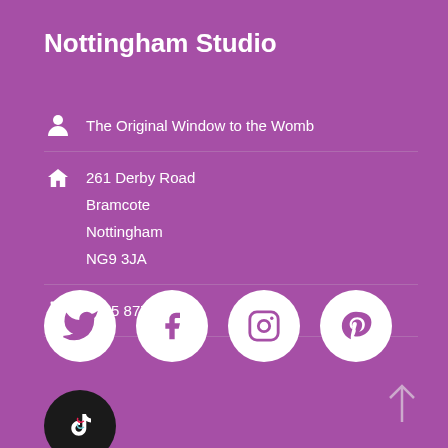Nottingham Studio
The Original Window to the Womb
261 Derby Road
Bramcote
Nottingham
NG9 3JA
0115 877 6945
[Figure (illustration): Four white circular social media icons on purple background: Twitter, Facebook, Instagram, Pinterest]
[Figure (illustration): TikTok circular icon (black circle), and an upward arrow icon at bottom right]